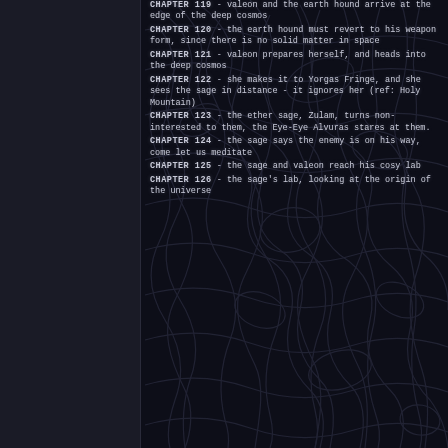CHAPTER 119 - valeon and the earth hound arrive at the edge of the deep cosmos
CHAPTER 120 - the earth hound must revert to his weapon form, since there is no solid matter in space
CHAPTER 121 - valeon prepares herself, and heads into the deep cosmos
CHAPTER 122 - she makes it to Yorgas Fringe, and she sees the sage in distance - it ignores her (ref: Holy Mountain)
CHAPTER 123 - the ether sage, Zulam, turns non-interested to them, the Eye-Eye Alvuras stares at them.
CHAPTER 124 - the sage says the enemy is on his way, come let us meditate
CHAPTER 125 - the sage and valeon reach his cosy lab
CHAPTER 126 - the sage's lab, looking at the origin of the universe